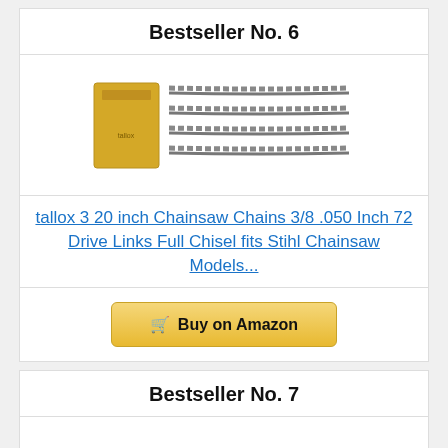Bestseller No. 6
[Figure (photo): Product photo: chainsaw chains bundle with yellow box and three chainsaw chains]
tallox 3 20 inch Chainsaw Chains 3/8 .050 Inch 72 Drive Links Full Chisel fits Stihl Chainsaw Models...
Buy on Amazon
Bestseller No. 7
[Figure (photo): Product photo: Husqvarna orange chainsaw]